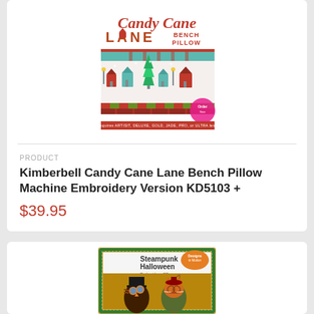[Figure (photo): Kimberbell Candy Cane Lane Bench Pillow product package cover image showing colorful Christmas-themed bench pillow with houses, trees, and candy cane pattern in red, green, and teal.]
PRODUCT
Kimberbell Candy Cane Lane Bench Pillow Machine Embroidery Version KD5103 +
$39.95
[Figure (photo): Steampunk Halloween Embroidery CD product cover image showing two steampunk-styled cats (an owl and a cat) with Halloween costumes on an ornate background.]